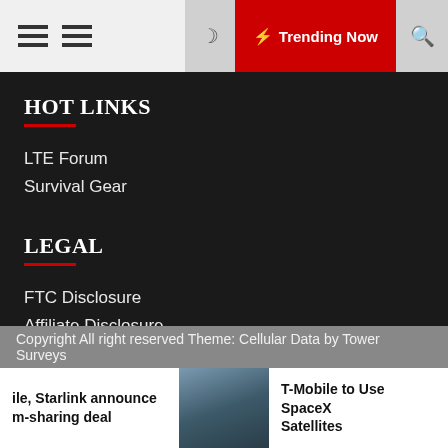Trending Now
HOT LINKS
LTE Forum
Survival Gear
LEGAL
FTC Disclosure
Affiliate Disclosure
Terms & Conditions
Privacy Policy
Copyright All right reserved Theme: Cellular Data by Tower Surveys
ile, Starlink announce m-sharing deal
T-Mobile to Use SpaceX Satellites